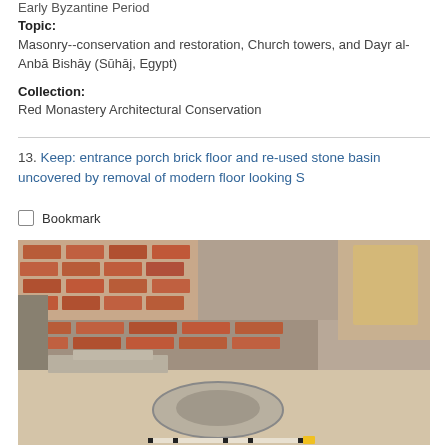Early Byzantine Period
Topic:
Masonry--conservation and restoration, Church towers, and Dayr al-Anbā Bishāy (Sūhāj, Egypt)
Collection:
Red Monastery Architectural Conservation
13. Keep: entrance porch brick floor and re-used stone basin uncovered by removal of modern floor looking S
Bookmark
[Figure (photo): Photograph showing an excavated entrance porch area with brick walls, a re-used stone basin embedded in the floor, and a measuring scale at the bottom.]